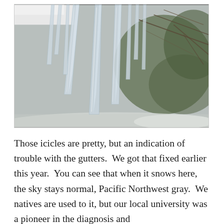[Figure (photo): A photograph of icicles hanging from roof gutters with bare tree branches and snow-covered evergreen branches visible in the background against a gray sky.]
Those icicles are pretty, but an indication of trouble with the gutters.  We got that fixed earlier this year.  You can see that when it snows here, the sky stays normal, Pacific Northwest gray.  We natives are used to it, but our local university was a pioneer in the diagnosis and